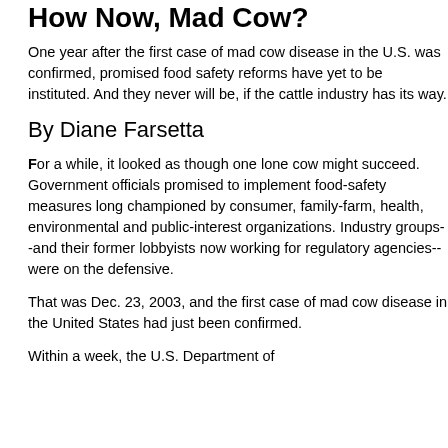How Now, Mad Cow?
One year after the first case of mad cow disease in the U.S. was confirmed, promised food safety reforms have yet to be instituted. And they never will be, if the cattle industry has its way.
By Diane Farsetta
For a while, it looked as though one lone cow might succeed. Government officials promised to implement food-safety measures long championed by consumer, family-farm, health, environmental and public-interest organizations. Industry groups--and their former lobbyists now working for regulatory agencies--were on the defensive.
That was Dec. 23, 2003, and the first case of mad cow disease in the United States had just been confirmed.
Within a week, the U.S. Department of